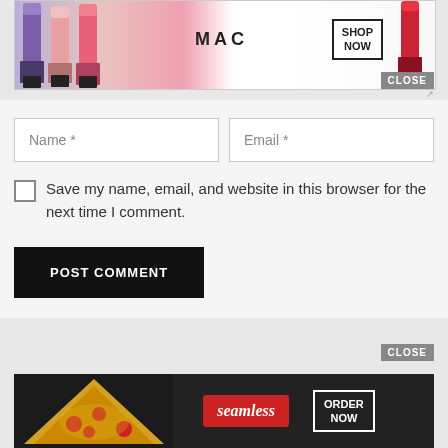[Figure (screenshot): MAC cosmetics advertisement banner showing lipsticks with 'SHOP NOW' button and a CLOSE button]
Name *
Email *
Save my name, email, and website in this browser for the next time I comment.
POST COMMENT
[Figure (screenshot): Seamless food delivery advertisement banner with pizza image, Seamless logo, and 'ORDER NOW' button with a CLOSE button]